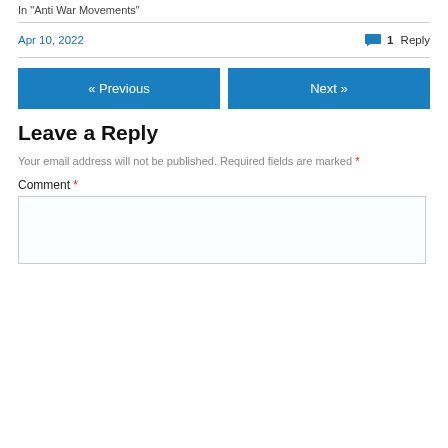In "Anti War Movements"
Apr 10, 2022
1 Reply
« Previous
Next »
Leave a Reply
Your email address will not be published. Required fields are marked *
Comment *